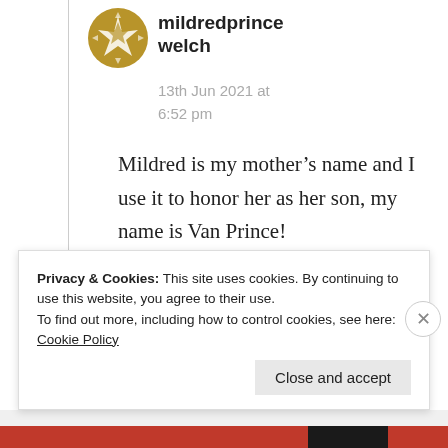[Figure (illustration): Gold star/snowflake avatar icon for user mildredprincelwelch]
mildredprince welch
13th Jun 2021 at 6:52 pm
Mildred is my mother’s name and I use it to honor her as her son, my name is Van Prince!
★ Liked by 2 people
Privacy & Cookies: This site uses cookies. By continuing to use this website, you agree to their use.
To find out more, including how to control cookies, see here: Cookie Policy
Close and accept